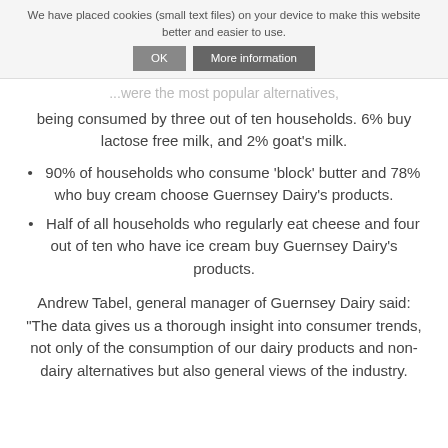We have placed cookies (small text files) on your device to make this website better and easier to use. OK More information
...were the most popular alternatives, being consumed by three out of ten households. 6% buy lactose free milk, and 2% goat's milk.
90% of households who consume 'block' butter and 78% who buy cream choose Guernsey Dairy's products.
Half of all households who regularly eat cheese and four out of ten who have ice cream buy Guernsey Dairy's products.
Andrew Tabel, general manager of Guernsey Dairy said: "The data gives us a thorough insight into consumer trends, not only of the consumption of our dairy products and non-dairy alternatives but also general views of the industry.